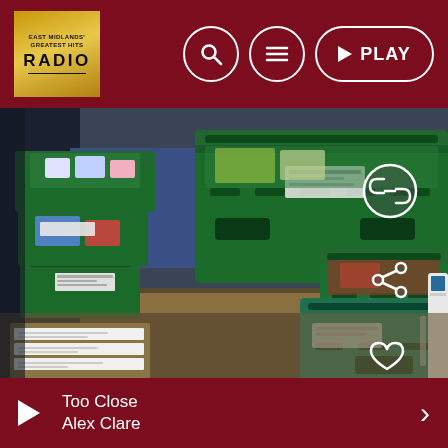RADIO — Search, Menu, PLAY controls
[Figure (photo): Photograph of green plastic food bank crates/bins stacked on shelves in a warehouse or distribution center, with various food items inside.]
LOCAL NEWS
Hope Valley to get foodbank as cost of
Too Close | Alex Clare — player bar with play and next controls